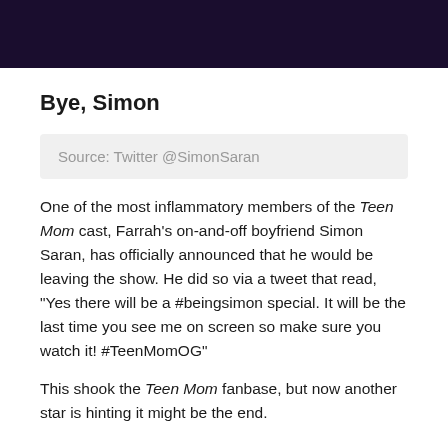Bye, Simon
Source: Twitter @SimonSaran
One of the most inflammatory members of the Teen Mom cast, Farrah's on-and-off boyfriend Simon Saran, has officially announced that he would be leaving the show. He did so via a tweet that read, “Yes there will be a #beingsimon special. It will be the last time you see me on screen so make sure you watch it! #TeenMomOG”
This shook the Teen Mom fanbase, but now another star is hinting it might be the end.